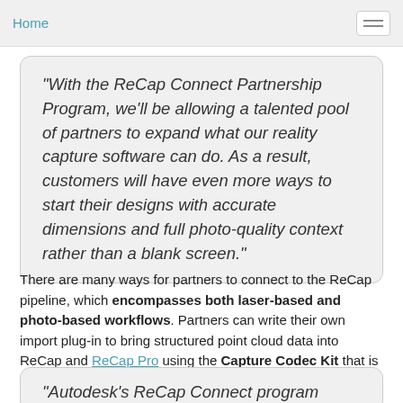Home
“With the ReCap Connect Partnership Program, we’ll be allowing a talented pool of partners to expand what our reality capture software can do. As a result, customers will have even more ways to start their designs with accurate dimensions and full photo-quality context rather than a blank screen.”
There are many ways for partners to connect to the ReCap pipeline, which encompasses both laser-based and photo-based workflows. Partners can write their own import plug-in to bring structured point cloud data into ReCap and ReCap Pro using the Capture Codec Kit that is available as part of the new ReCap desktop version. DotProduct – a maker of handheld, self-contained 3D scanners – is the first partner to take advantage of this capability.
“Autodesk’s ReCap Connect program